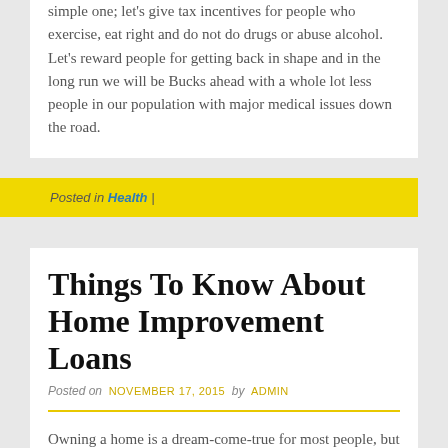simple one; let's give tax incentives for people who exercise, eat right and do not do drugs or abuse alcohol. Let's reward people for getting back in shape and in the long run we will be Bucks ahead with a whole lot less people in our population with major medical issues down the road.
Posted in Health |
Things To Know About Home Improvement Loans
Posted on NOVEMBER 17, 2015 by ADMIN
Owning a home is a dream-come-true for most people, but sometimes home repairs and maintenance can be a burden. Some repairs cannot be put off and home repair